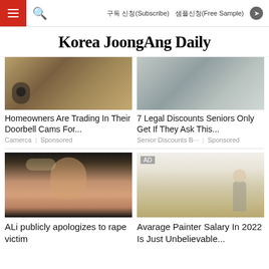Korea JoongAng Daily – Navigation bar with hamburger menu, search, 구독 신청(Subscribe), 샘플신청(Free Sample)
Korea JoongAng Daily
[Figure (photo): Top-left article image – close-up of a doorbell camera on textured surface]
[Figure (photo): Top-right article image – silver/grey metallic background]
Homeowners Are Trading In Their Doorbell Cams For...
7 Legal Discounts Seniors Only Get If They Ask This...
Camerca | Sponsored
Senior Discounts B··· | Sponsored
[Figure (photo): Bottom-left image – woman with blonde hair, eyes closed, crying expression]
[Figure (photo): Bottom-right image – painter standing with back turned painting a white wall, AD badge visible]
ALi publicly apologizes to rape victim
Avarage Painter Salary In 2022 Is Just Unbelievable...